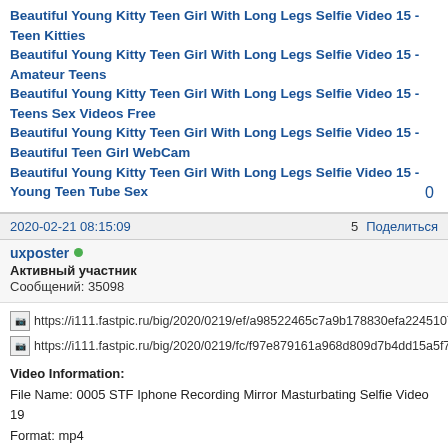Beautiful Young Kitty Teen Girl With Long Legs Selfie Video 15 - Teen Kitties
Beautiful Young Kitty Teen Girl With Long Legs Selfie Video 15 - Amateur Teens
Beautiful Young Kitty Teen Girl With Long Legs Selfie Video 15 - Teens Sex Videos Free
Beautiful Young Kitty Teen Girl With Long Legs Selfie Video 15 - Beautiful Teen Girl WebCam
Beautiful Young Kitty Teen Girl With Long Legs Selfie Video 15 - Young Teen Tube Sex
0
2020-02-21 08:15:09   5   Поделиться
uxposter
Активный участник
Сообщений: 35098
[Figure (other): Image placeholder with URL: https://i111.fastpic.ru/big/2020/0219/ef/a98522465c7a9b178830efa2245107ef.jpg]
[Figure (other): Image placeholder with URL: https://i111.fastpic.ru/big/2020/0219/fc/f97e879161a968d809d7b4dd15a5f7fc.png]
Video Information:
File Name: 0005 STF Iphone Recording Mirror Masturbating Selfie Video 19
Format: mp4
Size: 8.06 MB
Duration: 00:01:23
Resolution: 352x544